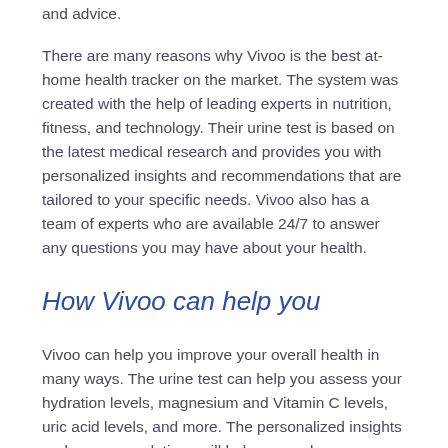over time, set goals, and receive personalized tips and advice.
There are many reasons why Vivoo is the best at-home health tracker on the market. The system was created with the help of leading experts in nutrition, fitness, and technology. Their urine test is based on the latest medical research and provides you with personalized insights and recommendations that are tailored to your specific needs. Vivoo also has a team of experts who are available 24/7 to answer any questions you may have about your health.
How Vivoo can help you
Vivoo can help you improve your overall health in many ways. The urine test can help you assess your hydration levels, magnesium and Vitamin C levels, uric acid levels, and more. The personalized insights and recommendations will help you make